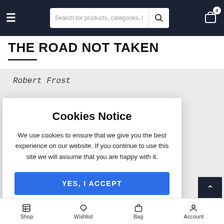Search for products, categories, l
THE ROAD NOT TAKEN
Robert Frost
[Figure (screenshot): Cookies Notice dialog overlay with text: 'We use cookies to ensure that we give you the best experience on our website. If you continue to use this site we will assume that you are happy with it.' and a blue YES, I ACCEPT button]
w wood,
booth
cood
I could
growth:
Shop  Wishlist  Bag  Account